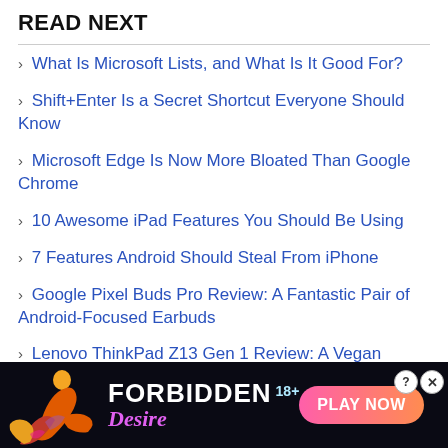READ NEXT
What Is Microsoft Lists, and What Is It Good For?
Shift+Enter Is a Secret Shortcut Everyone Should Know
Microsoft Edge Is Now More Bloated Than Google Chrome
10 Awesome iPad Features You Should Be Using
7 Features Android Should Steal From iPhone
Google Pixel Buds Pro Review: A Fantastic Pair of Android-Focused Earbuds
Lenovo ThinkPad Z13 Gen 1 Review: A Vegan Leather Laptop That Means Business
[Figure (illustration): Advertisement banner for 'Forbidden Desire' 18+ game with dark background, stylized woman silhouette in pink/orange/yellow, text 'FORBIDDEN Desire 18+ PLAY NOW' in colorful fonts, close/question mark buttons in top right.]